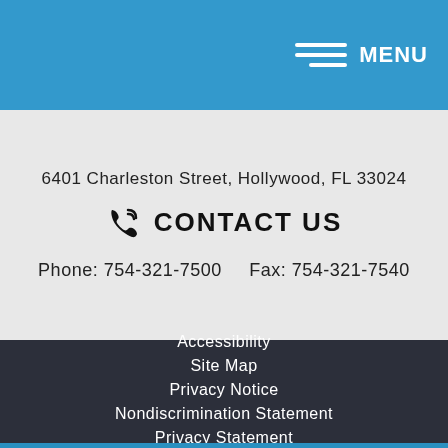MENU
6401 Charleston Street, Hollywood, FL 33024
CONTACT US
Phone: 754-321-7500    Fax: 754-321-7540
Accessibility
Site Map
Privacy Notice
Nondiscrimination Statement
Privacy Statement